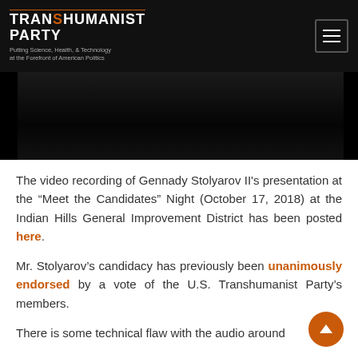Transhumanist Party — Putting Science, Health, & Technology at the Forefront of American Politics
[Figure (screenshot): Dark video thumbnail, partially visible, showing a dark room/stage background]
The video recording of Gennady Stolyarov II's presentation at the “Meet the Candidates” Night (October 17, 2018) at the Indian Hills General Improvement District has been posted here.
Mr. Stolyarov’s candidacy has previously been unanimously endorsed by a vote of the U.S. Transhumanist Party’s members.
There is some technical flaw with the audio around